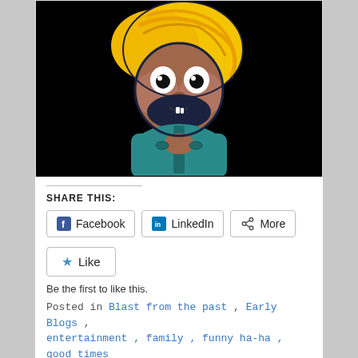[Figure (illustration): Cartoon illustration of a funny character with big yellow/blonde hair, wide googly eyes, prominent mustache/beard in dark navy, wearing a teal/turquoise robe with hands clasped together in a prayer/namaste pose, set against a black background.]
SHARE THIS:
Facebook   LinkedIn   More
Like
Be the first to like this.
Posted in Blast from the past , Early Blogs ,
entertainment , family , funny ha-ha , good times